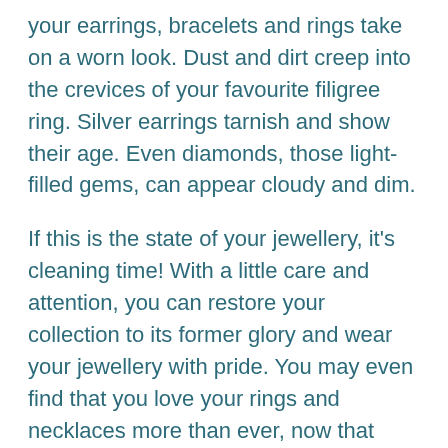your earrings, bracelets and rings take on a worn look. Dust and dirt creep into the crevices of your favourite filigree ring. Silver earrings tarnish and show their age. Even diamonds, those light-filled gems, can appear cloudy and dim.
If this is the state of your jewellery, it's cleaning time! With a little care and attention, you can restore your collection to its former glory and wear your jewellery with pride. You may even find that you love your rings and necklaces more than ever, now that you've seen them at their very best.
Refer to our complete guide to cleaning jewellery whenever your collection loses its lustre. Let's get started.